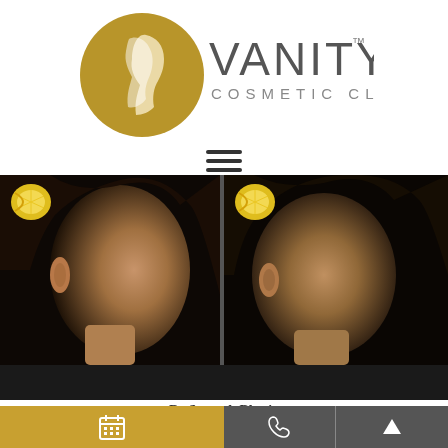[Figure (logo): Vanity Cosmetic Clinic logo with golden circle containing female silhouette and grey text 'VANITY COSMETIC CLINIC' with TM mark]
[Figure (other): Hamburger menu icon (three horizontal bars)]
[Figure (photo): Before and after side-profile photos of a patient showing nose filler treatment results, with lemon slice watermarks in upper corners]
Nose Fillers
Dr Santosh Bhatia
www.vanitycosmeticclinic.com
[Figure (logo): Vanity Cosmetic Clinic footer logo (partial)]
Calendar icon | Phone icon | Up arrow icon